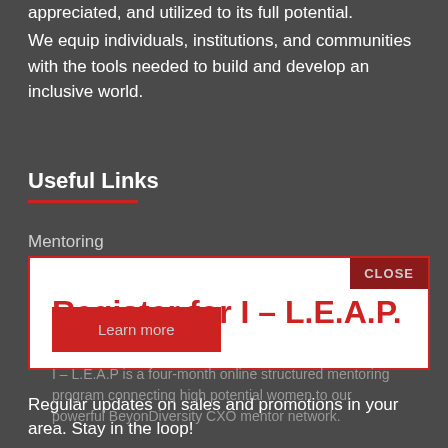appreciated, and utilized to its full potential.
We equip individuals, institutions, and communities with the tools needed to build and develop an inclusive world.
Useful Links
Mentoring
Register for I - L.E.A.P.
I – L.E.A.P is a four-month online structured mentoring program connecting high potential women to our powerful BeyonDiversity CXO mentor network.
Regular updates on sales and promotions in your area. Stay in the loop!